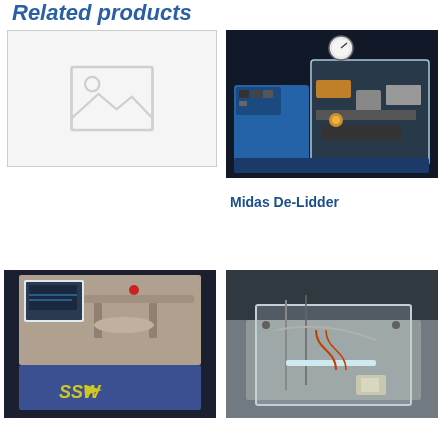Related products
[Figure (photo): Placeholder image with mountain/sun icon indicating no product image available]
[Figure (photo): Blue laboratory machine - Midas De-Lidder device with transparent cover and pressure gauge]
Midas De-Lidder
[Figure (photo): Stainless steel industrial machine with SSW logo on blue panel]
[Figure (photo): Interior view of industrial machine showing metal components and tubing]